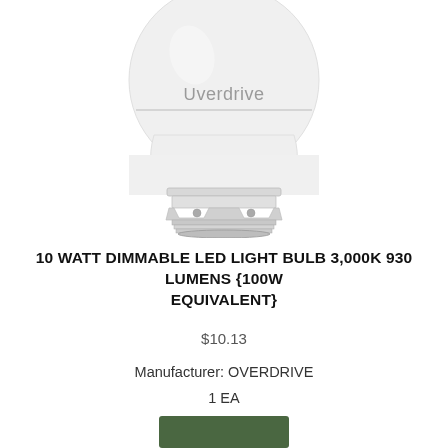[Figure (photo): Photo of an Overdrive branded LED light bulb showing the bulb body with 'Overdrive' text and the metallic E26 screw base at the bottom]
10 WATT DIMMABLE LED LIGHT BULB 3,000K 930 LUMENS {100W EQUIVALENT}
$10.13
Manufacturer: OVERDRIVE
1 EA